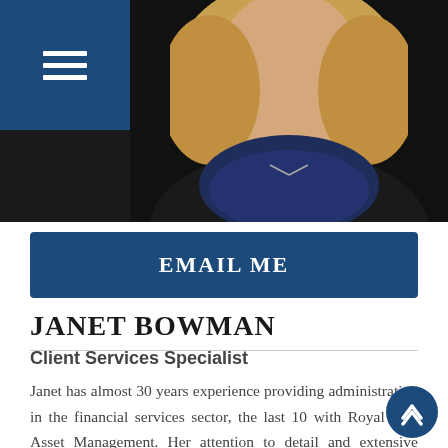[Figure (photo): Profile photo of Janet Bowman, a woman with blonde hair wearing a dark blue knit scarf/cowl and black jacket, with a hamburger menu icon in the top-left corner on a dark blue background]
EMAIL ME
JANET BOWMAN
Client Services Specialist
Janet has almost 30 years experience providing administration in the financial services sector, the last 10 with Royal City Asset Management. Her attention to detail and extensive experience provide clien